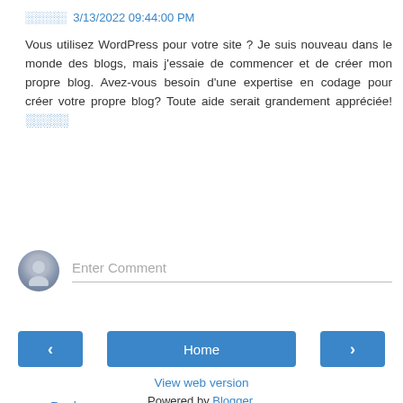░░░░░ 3/13/2022 09:44:00 PM
Vous utilisez WordPress pour votre site ? Je suis nouveau dans le monde des blogs, mais j'essaie de commencer et de créer mon propre blog. Avez-vous besoin d'une expertise en codage pour créer votre propre blog? Toute aide serait grandement appréciée! ░░░░░
Reply
[Figure (other): User avatar placeholder icon and Enter Comment input field]
[Figure (other): Navigation bar with left arrow button, Home button, and right arrow button]
View web version
Powered by Blogger.